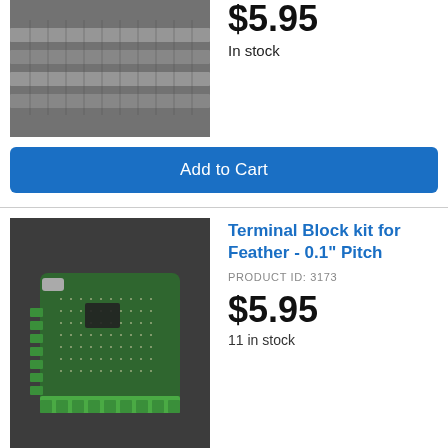[Figure (photo): Gray header connector pins product photo, partially visible at top of page]
$5.95
In stock
Add to Cart
Terminal Block kit for Feather - 0.1" Pitch
PRODUCT ID: 3173
$5.95
11 in stock
[Figure (photo): PCB Feather board with green terminal blocks attached, on dark background]
Add to Cart
SMT Socket Header Kit for
[Figure (photo): Partial product image at bottom of page]